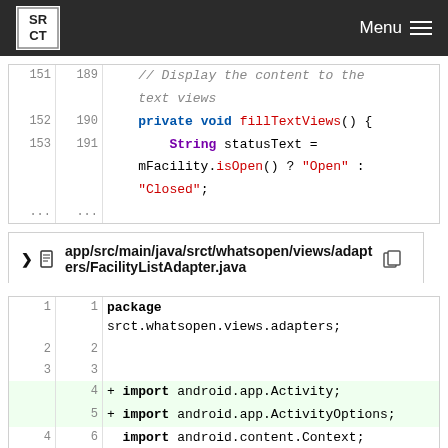SRCT | Menu
[Figure (screenshot): Code snippet showing lines 151-153 (189-191) with a comment '// Display the content to the text views' and method 'private void fillTextViews()' with String statusText = mFacility.isOpen() ? "Open" : "Closed";]
app/src/main/java/srct/whatsopen/views/adapters/FacilityListAdapter.java
[Figure (screenshot): Code snippet showing lines 1-8 of FacilityListAdapter.java including package declaration, imports for android.app.Activity, android.app.ActivityOptions (added lines), android.content.Context, android.content.Intent, and android.app.import]